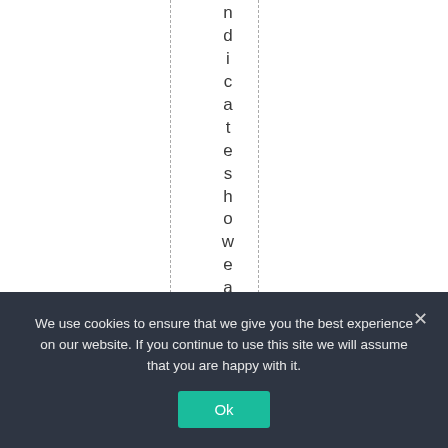ndicateshoweasyi t w
We use cookies to ensure that we give you the best experience on our website. If you continue to use this site we will assume that you are happy with it.